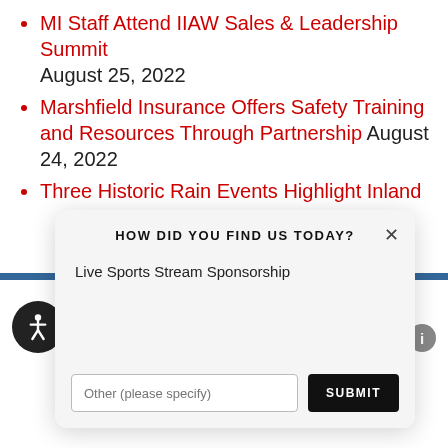MI Staff Attend IIAW Sales & Leadership Summit August 25, 2022
Marshfield Insurance Offers Safety Training and Resources Through Partnership August 24, 2022
Three Historic Rain Events Highlight Inland ...
[Figure (screenshot): Modal dialog: HOW DID YOU FIND US TODAY? with option 'Live Sports Stream Sponsorship', a text input 'Other (please specify)' and a SUBMIT button]
[Figure (other): Accessibility icon button (dark circle with wheelchair user icon)]
[Figure (other): Info button (grey circle with i)]